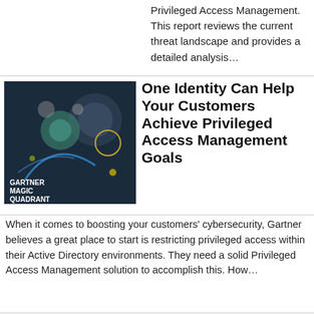Privileged Access Management. This report reviews the current threat landscape and provides a detailed analysis...
[Figure (illustration): Gartner Magic Quadrant illustration with dark navy background, colorful circles/bubbles and arcs]
One Identity Can Help Your Customers Achieve Privileged Access Management Goals
When it comes to boosting your customers' cybersecurity, Gartner believes a great place to start is restricting privileged access within their Active Directory environments. They need a solid Privileged Access Management solution to accomplish this. How...
[Figure (illustration): Blue swirling digital background image with text 'Reasons to Invest in Next-Gen PAM']
The Many Faces of Privileged Access Management (PAM)
Privileged access management (PAM) is one of the fastest growing areas of cybersecurity. As virtually every high-profile breach involves compromised privileged accounts and administrative access, it's no surprise that securing those credentials and...